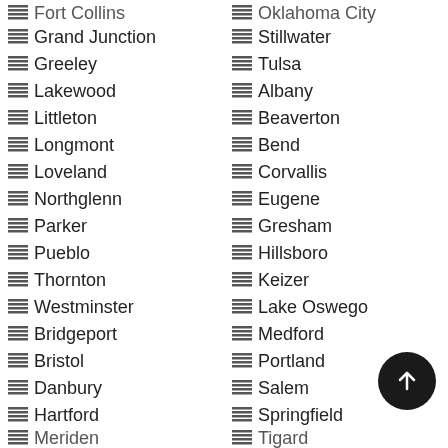Fort Collins (partial, top cut off)
Oklahoma City (partial, top cut off)
Grand Junction
Stillwater
Greeley
Tulsa
Lakewood
Albany
Littleton
Beaverton
Longmont
Bend
Loveland
Corvallis
Northglenn
Eugene
Parker
Gresham
Pueblo
Hillsboro
Thornton
Keizer
Westminster
Lake Oswego
Bridgeport
Medford
Bristol
Portland
Danbury
Salem
Hartford
Springfield
Meriden (partial, bottom cut off)
Tigard (partial, bottom cut off)